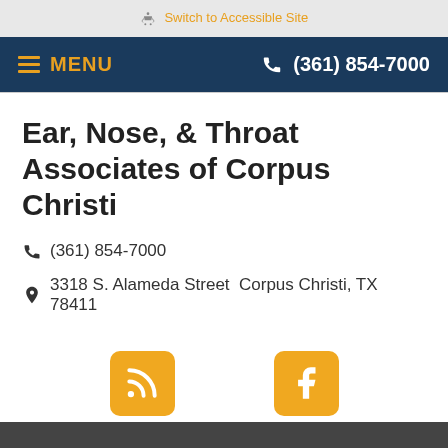Switch to Accessible Site
MENU  (361) 854-7000
Ear, Nose, & Throat Associates of Corpus Christi
(361) 854-7000
3318 S. Alameda Street  Corpus Christi, TX 78411
[Figure (logo): RSS feed icon - orange rounded square with white RSS symbol]
[Figure (logo): Facebook icon - orange rounded square with white letter f]